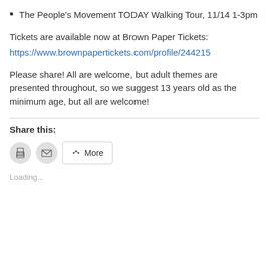The People's Movement TODAY Walking Tour, 11/14 1-3pm
Tickets are available now at Brown Paper Tickets:
https://www.brownpapertickets.com/profile/244215
Please share! All are welcome, but adult themes are presented throughout, so we suggest 13 years old as the minimum age, but all are welcome!
Share this:
[Figure (infographic): Share buttons: print icon (circle), email icon (circle), and a More button with share icon]
Loading...